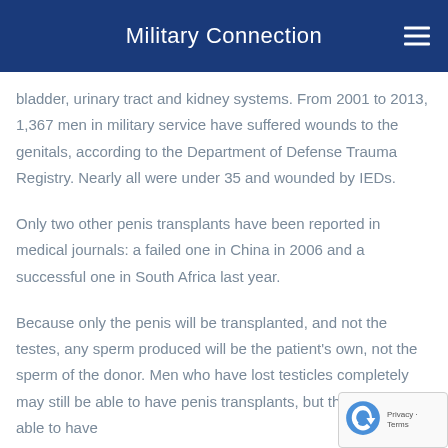Military Connection
bladder, urinary tract and kidney systems. From 2001 to 2013, 1,367 men in military service have suffered wounds to the genitals, according to the Department of Defense Trauma Registry. Nearly all were under 35 and wounded by IEDs.
Only two other penis transplants have been reported in medical journals: a failed one in China in 2006 and a successful one in South Africa last year.
Because only the penis will be transplanted, and not the testes, any sperm produced will be the patient's own, not the sperm of the donor. Men who have lost testicles completely may still be able to have penis transplants, but they will not be able to have